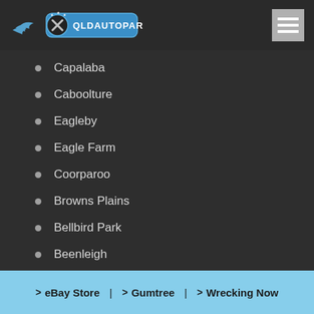[Figure (logo): QLD Auto Parts logo with wings, crossed wrenches/pistons, stars, and blue banner reading QLDAUTOPARTS]
Capalaba
Caboolture
Eagleby
Eagle Farm
Coorparoo
Browns Plains
Bellbird Park
Beenleigh
Beaudesert
Boo...
> eBay Store  |  > Gumtree  |  > Wrecking Now